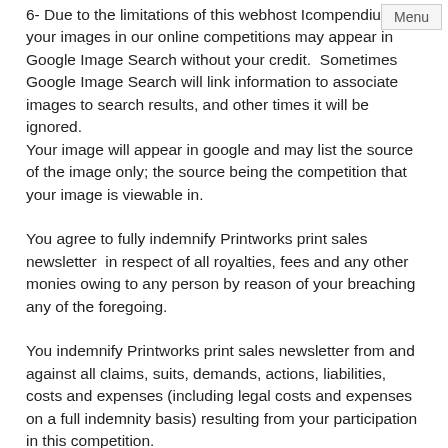6- Due to the limitations of this webhost Icompendium, your images in our online competitions may appear in Google Image Search without your credit.  Sometimes Google Image Search will link information to associate images to search results, and other times it will be ignored.
Your image will appear in google and may list the source of the image only; the source being the competition that your image is viewable in.
You agree to fully indemnify Printworks print sales newsletter  in respect of all royalties, fees and any other monies owing to any person by reason of your breaching any of the foregoing.
You indemnify Printworks print sales newsletter from and against all claims, suits, demands, actions, liabilities, costs and expenses (including legal costs and expenses on a full indemnity basis) resulting from your participation in this competition.